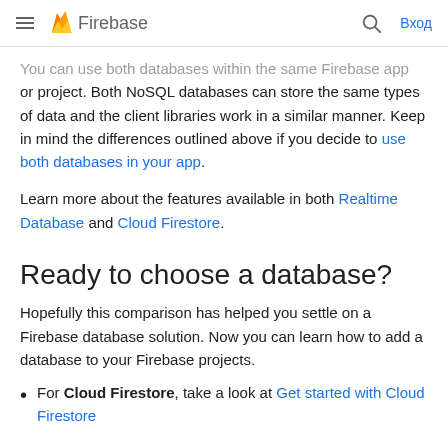Firebase
You can use both databases within the same Firebase app or project. Both NoSQL databases can store the same types of data and the client libraries work in a similar manner. Keep in mind the differences outlined above if you decide to use both databases in your app.
Learn more about the features available in both Realtime Database and Cloud Firestore.
Ready to choose a database?
Hopefully this comparison has helped you settle on a Firebase database solution. Now you can learn how to add a database to your Firebase projects.
For Cloud Firestore, take a look at Get started with Cloud Firestore